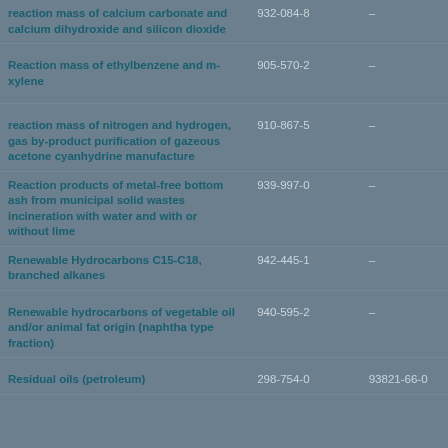| Substance name | EC number | CAS number |
| --- | --- | --- |
| reaction mass of calcium carbonate and calcium dihydroxide and silicon dioxide | 932-084-8 | - |
| Reaction mass of ethylbenzene and m-xylene | 905-570-2 | - |
| reaction mass of nitrogen and hydrogen, gas by-product purification of gazeous acetone cyanhydrine manufacture | 910-867-5 | - |
| Reaction products of metal-free bottom ash from municipal solid wastes incineration with water and with or without lime | 939-997-0 | - |
| Renewable Hydrocarbons C15-C18, branched alkanes | 942-445-1 | - |
| Renewable hydrocarbons of vegetable oil and/or animal fat origin (naphtha type fraction) | 940-595-2 | - |
| Residual oils (petroleum) | 298-754-0 | 93821-66-0 |